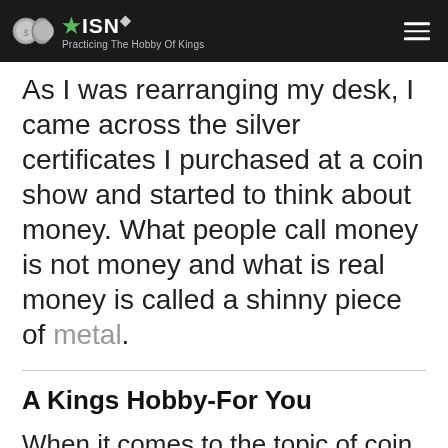ISN — Practicing The Hobby Of Kings
As I was rearranging my desk, I came across the silver certificates I purchased at a coin show and started to think about money. What people call money is not money and what is real money is called a shinny piece of metal.
A Kings Hobby-For You
When it comes to the topic of coin collecting, some people are intrigued